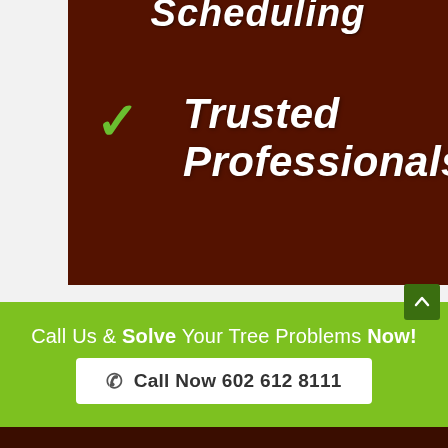[Figure (photo): Dark brown background image with a white left strip, showing a checkmark icon in green and italic bold white text 'Trusted Professionals' overlaid on a dark reddish-brown background. Partially cropped italic bold white text at the top (appears to say 'Scheduling').]
Call Us & Solve Your Tree Problems Now!
📞 Call Now 602 612 8111